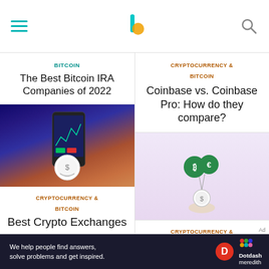Navigation header with hamburger menu, Investopedia logo, and search icon
The Best Bitcoin IRA Companies of 2022
BITCOIN
[Figure (photo): Person holding a smartphone displaying a financial chart with colorful bokeh lights in the background; coin/dollar icon overlay at bottom center]
CRYPTOCURRENCY & BITCOIN
Best Crypto Exchanges
CRYPTOCURRENCY & BITCOIN
Coinbase vs. Coinbase Pro: How do they compare?
[Figure (illustration): Illustration of a hand holding a dollar coin on a string with Bitcoin and Euro coin balloons floating above, on a pink/lavender background]
CRYPTOCURRENCY & BITCOIN
eToro vs. Coinbase: How Do They Compare?
We help people find answers, solve problems and get inspired.  Dotdash meredith